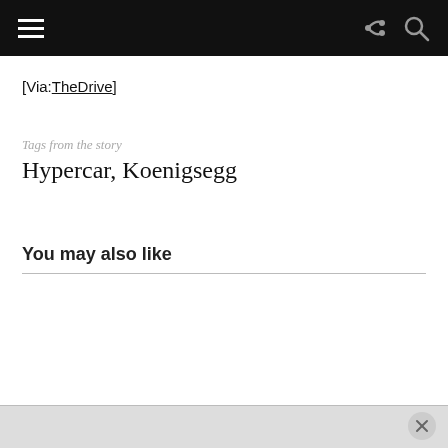Navigation bar with hamburger menu, share icon, and search icon
[Via:TheDrive]
Tags from the story
Hypercar, Koenigsegg
You may also like
Ad bar with close button